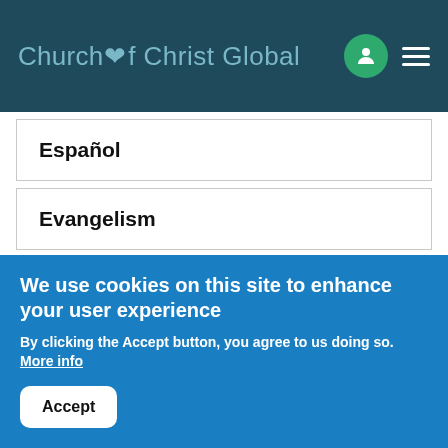Church of Christ Global
Español
Evangelism
Events
Families
Hymns
We use cookies on this site to enhance your user experience
By clicking the Accept button, you agree to us doing so. More info
Accept